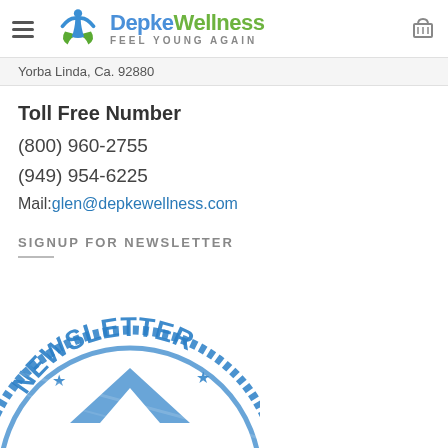Depke Wellness — Feel Young Again
Yorba Linda, Ca. 92880
Toll Free Number
(800) 960-2755
(949) 954-6225
Mail:glen@depkewellness.com
SIGNUP FOR NEWSLETTER
[Figure (illustration): Blue circular newsletter stamp graphic partially visible at the bottom of the page]